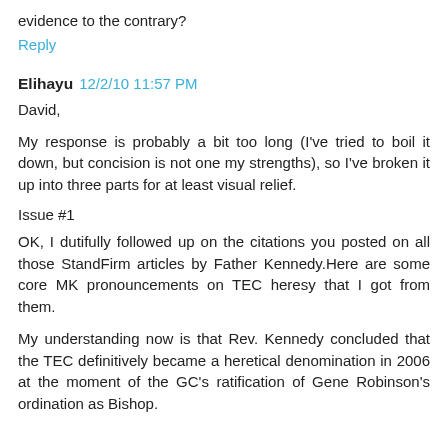evidence to the contrary?
Reply
Elihayu  12/2/10 11:57 PM
David,
My response is probably a bit too long (I've tried to boil it down, but concision is not one my strengths), so I've broken it up into three parts for at least visual relief.
Issue #1
OK, I dutifully followed up on the citations you posted on all those StandFirm articles by Father Kennedy.Here are some core MK pronouncements on TEC heresy that I got from them.
My understanding now is that Rev. Kennedy concluded that the TEC definitively became a heretical denomination in 2006 at the moment of the GC's ratification of Gene Robinson's ordination as Bishop.